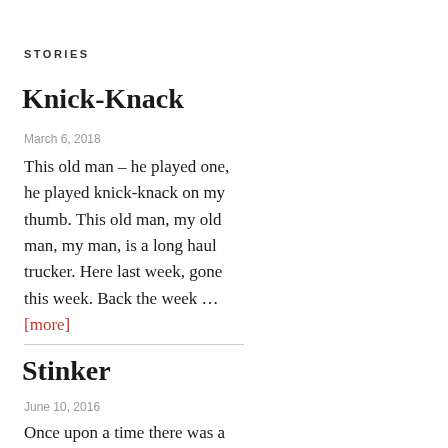STORIES
Knick-Knack
March 6, 2018
This old man – he played one, he played knick-knack on my thumb. This old man, my old man, my man, is a long haul trucker. Here last week, gone this week. Back the week … [more]
Stinker
June 10, 2016
Once upon a time there was a little boy who had both a …